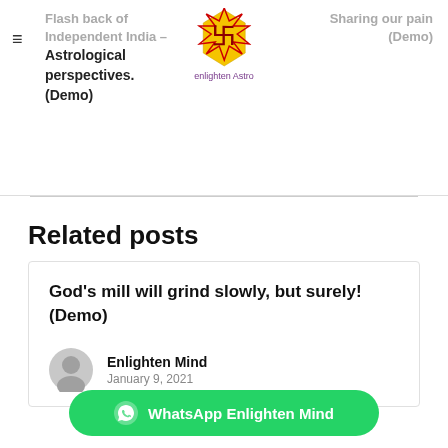Flash back of Independent India – Astrological perspectives. (Demo)
[Figure (logo): Enlighten Astro logo - yellow star with swastika symbol and purple text]
Sharing our pain (Demo)
Related posts
God's mill will grind slowly, but surely! (Demo)
Enlighten Mind
January 9, 2021
WhatsApp Enlighten Mind